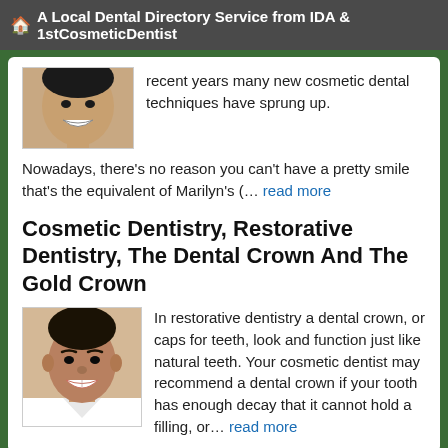A Local Dental Directory Service from IDA & 1stCosmeticDentist
[Figure (photo): Thumbnail photo of a smiling person (partial, top of card)]
recent years many new cosmetic dental techniques have sprung up.
Nowadays, there's no reason you can't have a pretty smile that's the equivalent of Marilyn's (… read more
Cosmetic Dentistry, Restorative Dentistry, The Dental Crown And The Gold Crown
[Figure (photo): Thumbnail photo of a smiling man]
In restorative dentistry a dental crown, or caps for teeth, look and function just like natural teeth. Your cosmetic dentist may recommend a dental crown if your tooth has enough decay that it cannot hold a filling, or… read more
To find a Cosmetic Dentist near you, enter your postal code below.